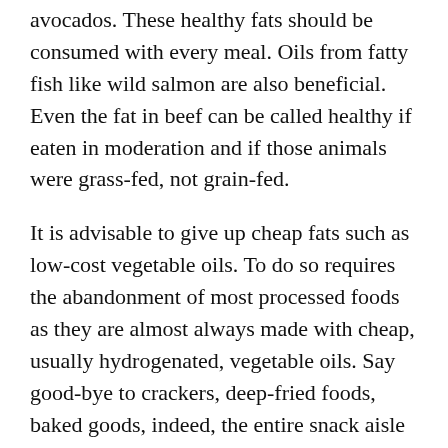avocados. These healthy fats should be consumed with every meal. Oils from fatty fish like wild salmon are also beneficial. Even the fat in beef can be called healthy if eaten in moderation and if those animals were grass-fed, not grain-fed.
It is advisable to give up cheap fats such as low-cost vegetable oils. To do so requires the abandonment of most processed foods as they are almost always made with cheap, usually hydrogenated, vegetable oils. Say good-bye to crackers, deep-fried foods, baked goods, indeed, the entire snack aisle of your local grocery store.
Healthy fats are more expensive than unhealthy fats but this is one case where spending extra money significantly protects your health.
Finally, use oils appropriately. For example, extra virgin